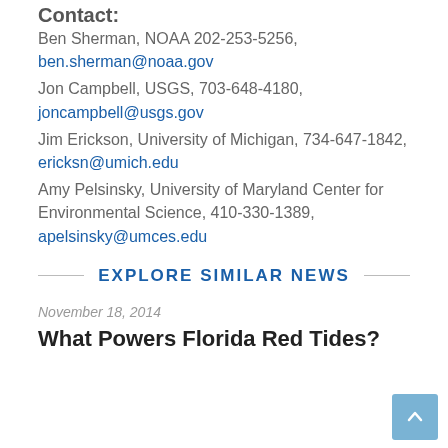Contact:
Ben Sherman, NOAA 202-253-5256, ben.sherman@noaa.gov
Jon Campbell, USGS, 703-648-4180, joncampbell@usgs.gov
Jim Erickson, University of Michigan, 734-647-1842, ericksn@umich.edu
Amy Pelsinsky, University of Maryland Center for Environmental Science, 410-330-1389, apelsinsky@umces.edu
EXPLORE SIMILAR NEWS
November 18, 2014
What Powers Florida Red Tides?